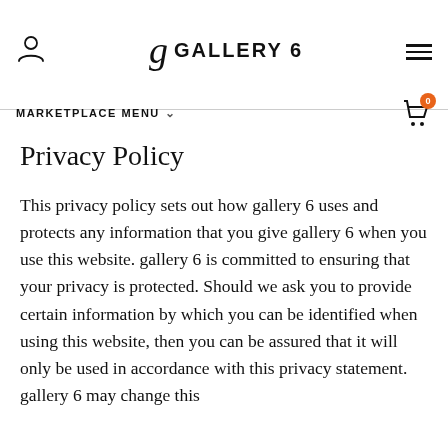GALLERY 6
Privacy Policy
This privacy policy sets out how gallery 6 uses and protects any information that you give gallery 6 when you use this website. gallery 6 is committed to ensuring that your privacy is protected. Should we ask you to provide certain information by which you can be identified when using this website, then you can be assured that it will only be used in accordance with this privacy statement. gallery 6 may change this